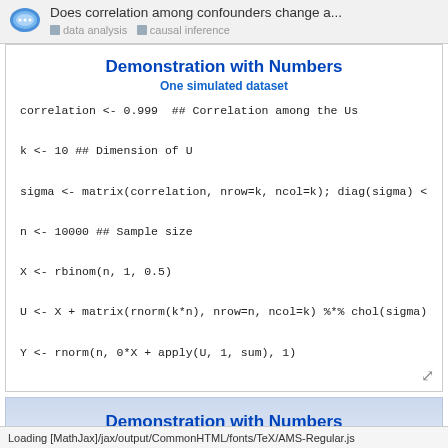Does correlation among confounders change a...
data analysis  causal inference
Demonstration with Numbers
One simulated dataset
correlation <- 0.999  ## Correlation among the Us
k <- 10 ## Dimension of U
sigma <- matrix(correlation, nrow=k, ncol=k); diag(sigma) <- 1
n <- 10000 ## Sample size
X <- rbinom(n, 1, 0.5)
U <- X + matrix(rnorm(k*n), nrow=n, ncol=k) %*% chol(sigma)
Y <- rnorm(n, 0*X + apply(U, 1, sum), 1)
Demonstration with Numbers
One Simulated Dataset
Loading [MathJax]/jax/output/CommonHTML/fonts/TeX/AMS-Regular.js